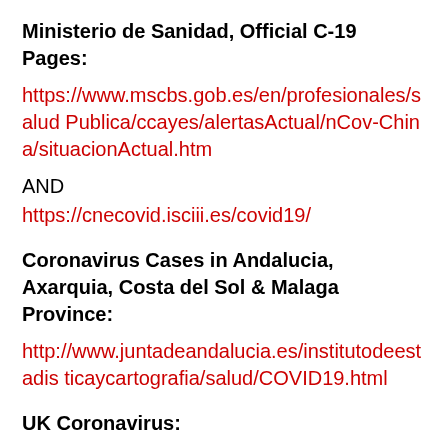Ministerio de Sanidad, Official C-19 Pages:
https://www.mscbs.gob.es/en/profesionales/saludPublica/ccayes/alertasActual/nCov-China/situacionActual.htm
AND
https://cnecovid.isciii.es/covid19/
Coronavirus Cases in Andalucia, Axarquia, Costa del Sol & Malaga Province:
http://www.juntadeandalucia.es/institutodeestadisticaycartografia/salud/COVID19.html
UK Coronavirus:
https://www.worldometers.info/coronavirus/country/uk/